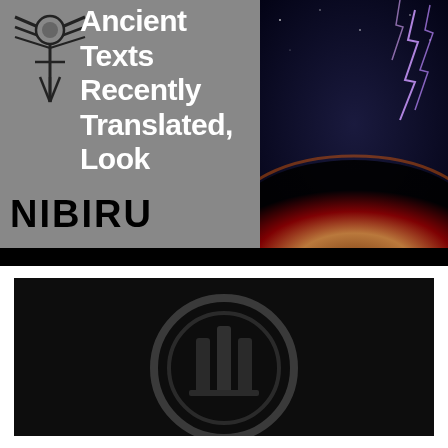[Figure (illustration): Top banner with two panels: left gray panel showing a Sumerian/Nibiru winged symbol and bold white text 'Ancient Texts Recently Translated, Look' above black bold text 'NIBIRU'; right panel dark cosmic scene with planet and lightning bolts]
[Figure (logo): Bottom panel showing a dark Nibiru/circle logo with pillar symbols inside on black background]